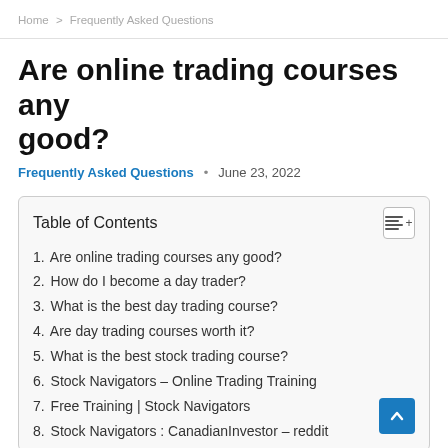Home > Frequently Asked Questions
Are online trading courses any good?
Frequently Asked Questions  •  June 23, 2022
Table of Contents
1. Are online trading courses any good?
2. How do I become a day trader?
3. What is the best day trading course?
4. Are day trading courses worth it?
5. What is the best stock trading course?
6. Stock Navigators – Online Trading Training
7. Free Training | Stock Navigators
8. Stock Navigators : CanadianInvestor – reddit